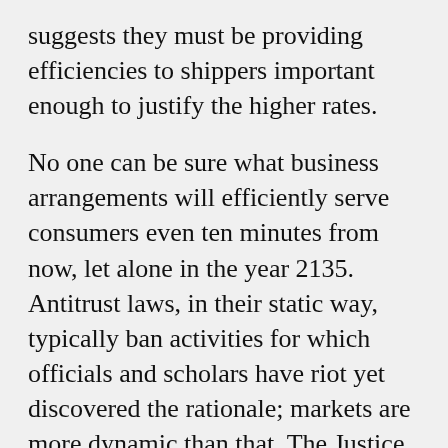suggests they must be providing efficiencies to shippers important enough to justify the higher rates.
No one can be sure what business arrangements will efficiently serve consumers even ten minutes from now, let alone in the year 2135. Antitrust laws, in their static way, typically ban activities for which officials and scholars have riot yet discovered the rationale; markets are more dynamic than that. The Justice Department and FTC now say that their antitrust policy has changed, and that in future they will allow must efficiency enhancing arrangements —except for those that encourage price fixing.
Aside from the inherent difficulty of making the future judgments, it must be noted that in the past